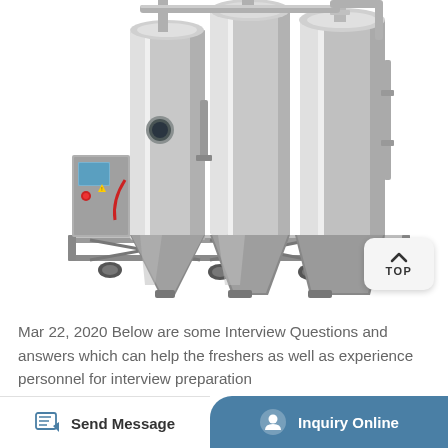[Figure (photo): Industrial spray dryer or evaporator machine with stainless steel tanks, cylinders, pipes, and conical collection hoppers mounted on a wheeled stainless steel frame]
Mar 22, 2020 Below are some Interview Questions and answers which can help the freshers as well as experience personnel for interview preparation